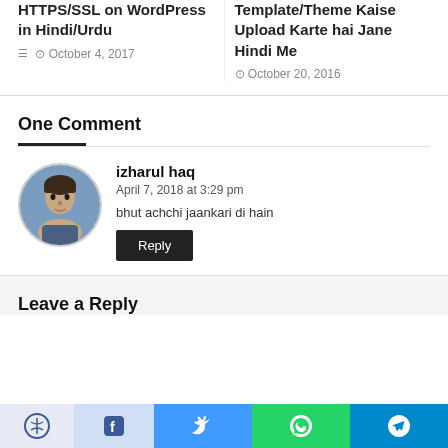HTTPS/SSL on WordPress in Hindi/Urdu
October 4, 2017
Template/Theme Kaise Upload Karte hai Jane Hindi Me
October 20, 2016
One Comment
izharul haq
April 7, 2018 at 3:29 pm
bhut achchi jaankari di hain
Reply
Leave a Reply